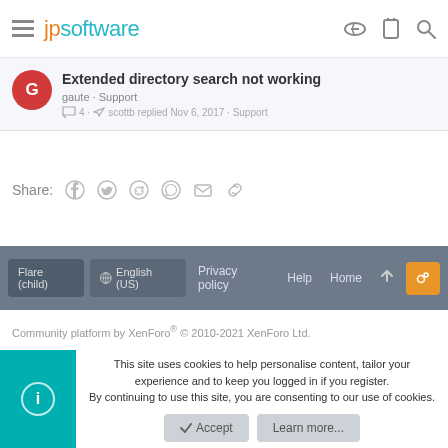jpsoftware
Extended directory search not working
gaute · Support
4 · scottb replied Nov 6, 2017 · Support
Share:
Flare (child)  English (US)  Privacy policy  Help  Home
Community platform by XenForo® © 2010-2021 XenForo Ltd.
This site uses cookies to help personalise content, tailor your experience and to keep you logged in if you register.
By continuing to use this site, you are consenting to our use of cookies.
Accept  Learn more...